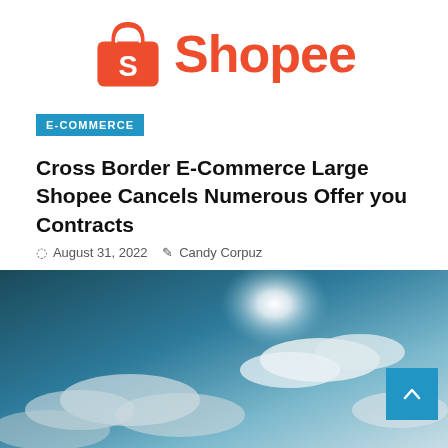[Figure (logo): Shopee logo: orange shopping bag with white S letter, followed by the word Shopee in orange text]
E-COMMERCE
Cross Border E-Commerce Large Shopee Cancels Numerous Offer you Contracts
August 31, 2022   Candy Corpuz
[Figure (photo): Sky photograph with bright sun and clouds, teal and blue tones, used as article header image]